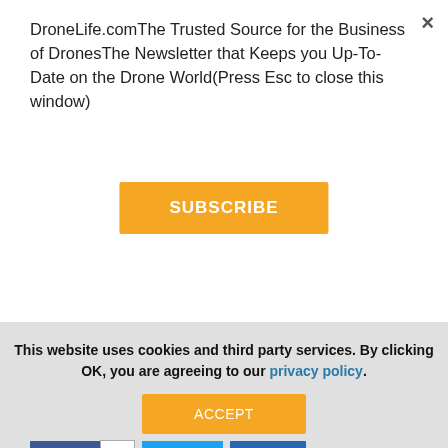DroneLife.comThe Trusted Source for the Business of DronesThe Newsletter that Keeps you Up-To-Date on the Drone World(Press Esc to close this window)
SUBSCRIBE
made public.  It's wordy, complex, and confusing – and the headlines haven't made understanding what's inside ea…
Read more »
Share  0
Tweet
Share
This website uses cookies and third party services. By clicking OK, you are agreeing to our privacy policy.
ACCEPT